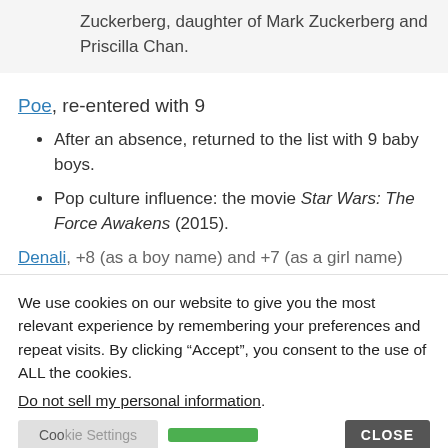Zuckerberg, daughter of Mark Zuckerberg and Priscilla Chan.
Poe, re-entered with 9
After an absence, returned to the list with 9 baby boys.
Pop culture influence: the movie Star Wars: The Force Awakens (2015).
Denali, +8 (as a boy name) and +7 (as a girl name)
We use cookies on our website to give you the most relevant experience by remembering your preferences and repeat visits. By clicking “Accept”, you consent to the use of ALL the cookies.
Do not sell my personal information.
[Figure (screenshot): Cookie consent banner with Cookie Settings button, Accept button, and CLOSE button]
[Figure (screenshot): Seamless food delivery advertisement banner with pizza image, Seamless logo, and ORDER NOW button]